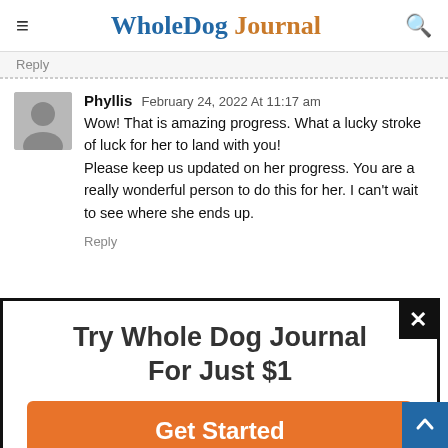Whole Dog Journal
Reply
Phyllis February 24, 2022 At 11:17 am

Wow! That is amazing progress. What a lucky stroke of luck for her to land with you!
Please keep us updated on her progress. You are a really wonderful person to do this for her. I can't wait to see where she ends up.
Reply
[Figure (infographic): Popup modal with text 'Try Whole Dog Journal For Just $1' and an orange 'Get Started' button, with a close (X) button in the top-right corner.]